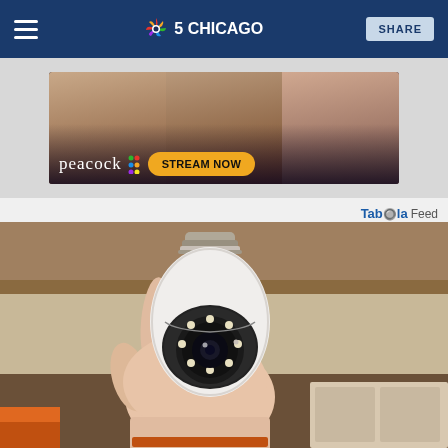NBC 5 Chicago | SHARE
[Figure (photo): Peacock streaming service advertisement banner showing three smiling women with peacock logo and 'STREAM NOW' button]
Tab৺৺la Feed
[Figure (photo): A person holding a white security camera shaped like a light bulb with an E27 screw base, featuring a circular camera lens with LED lights around it]